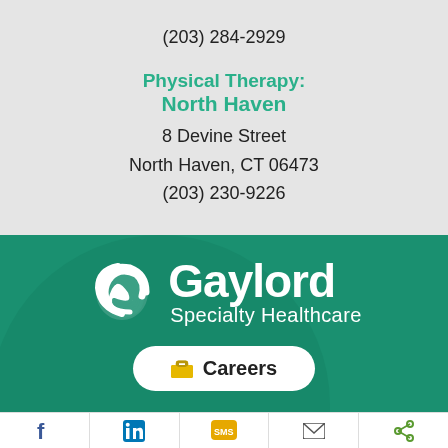(203) 284-2929
Physical Therapy:
North Haven
8 Devine Street
North Haven, CT 06473
(203) 230-9226
[Figure (logo): Gaylord Specialty Healthcare logo with white swirl icon and text on green background, with a Careers button]
[Figure (infographic): Footer bar with social/share icons: Facebook, LinkedIn, SMS, Email, Share]